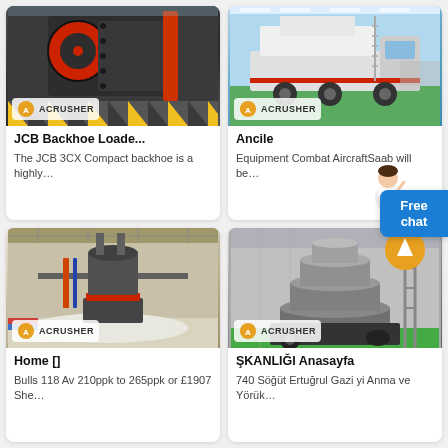[Figure (photo): JCB Backhoe Loader crusher machine photo with Acrusher logo badge]
JCB Backhoe Loade...
The JCB 3CX Compact backhoe is a highly...
[Figure (photo): Ancile mobile crushing equipment photo with Acrusher logo badge]
Ancile
Equipment Combat AircraftSaab will be...
[Figure (photo): Home industrial mill machine photo with Acrusher logo badge]
Home []
Bulls 118 Av 210ppk to 265ppk or £1907 She...
[Figure (photo): ŞKANLIĞI Anasayfa cone crusher machine photo with Acrusher logo badge and orange icon]
ŞKANLIĞI Anasayfa
740 Söğüt Ertuğrul Gazi yi Anma ve Yörük...